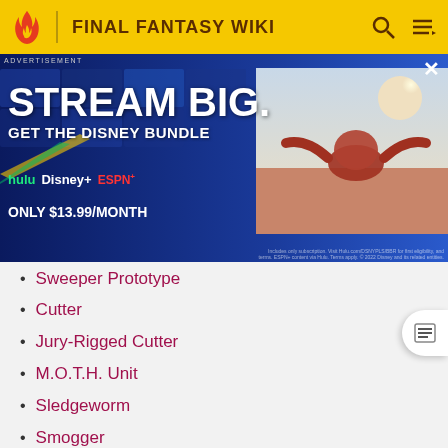FINAL FANTASY WIKI
[Figure (infographic): Disney Bundle advertisement banner: STREAM BIG. GET THE DISNEY BUNDLE. Hulu, Disney+, ESPN+ logos. ONLY $13.99/MONTH. With a video thumbnail on the right.]
Sweeper Prototype
Cutter
Jury-Rigged Cutter
M.O.T.H. Unit
Sledgeworm
Smogger
Chromogger
Scorpion Sentinel
Crab Warden